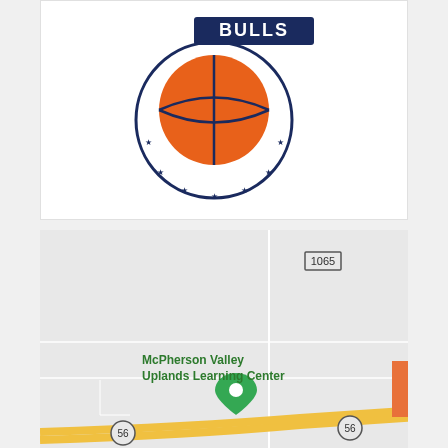[Figure (logo): Basketball organization logo with orange basketball, navy blue stars arranged in a circle around it, and navy blue text banner at top]
[Figure (map): Google Maps screenshot showing the location of McPherson Valley Uplands Learning Center, with road 1065 marked at top and highway 56 running diagonally at the bottom. A green map pin marks the location. An orange scroll-to-top button is visible in the bottom right.]